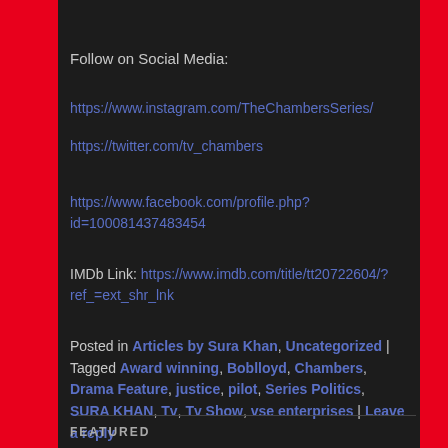Follow on Social Media:
https://www.instagram.com/TheChambersSeries/
https://twitter.com/tv_chambers
https://www.facebook.com/profile.php?id=100081437483454
IMDb Link: https://www.imdb.com/title/tt20722604/?ref_=ext_shr_lnk
Posted in Articles by Sura Khan, Uncategorized | Tagged Award winning, Boblloyd, Chambers, Drama Feature, justice, pilot, Series Politics, SURA KHAN, Tv, Tv Show, vse enterprises | Leave a reply
FEATURED